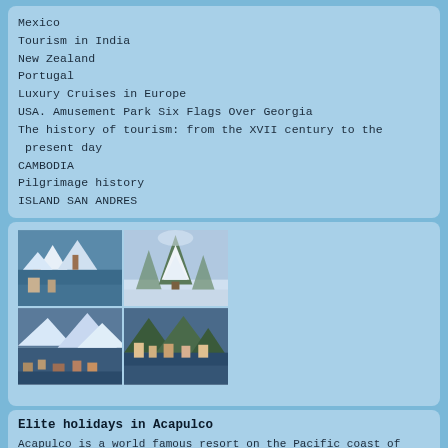Mexico
Tourism in India
New Zealand
Portugal
Luxury Cruises in Europe
USA. Amusement Park Six Flags Over Georgia
The history of tourism: from the XVII century to the present day
CAMBODIA
Pilgrimage history
ISLAND SAN ANDRES
[Figure (photo): Four-photo grid of winter alpine and mountain lake scenery]
Elite holidays in Acapulco
Acapulco is a world famous resort on the Pacific coast of Mexico. Every year it attracts several million tourists. And all this thanks to the rich nightlife, very mild, warm...
Continue reading →
[Figure (photo): Partial photo visible at bottom of page showing outdoor scene]